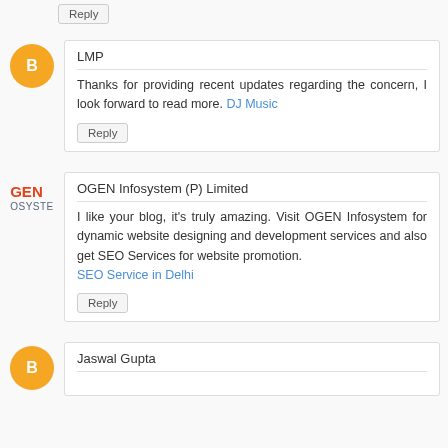Reply (top)
[Figure (illustration): Orange blogger avatar icon (circle with 'B' logo)]
LMP
Thanks for providing recent updates regarding the concern, I look forward to read more. DJ Music
Reply
[Figure (logo): OGEN Infosystem company logo — orange GEN text with dark OSYSTE below]
OGEN Infosystem (P) Limited
I like your blog, it's truly amazing. Visit OGEN Infosystem for dynamic website designing and development services and also get SEO Services for website promotion. SEO Service in Delhi
Reply
[Figure (illustration): Orange blogger avatar icon (circle with 'B' logo)]
Jaswal Gupta